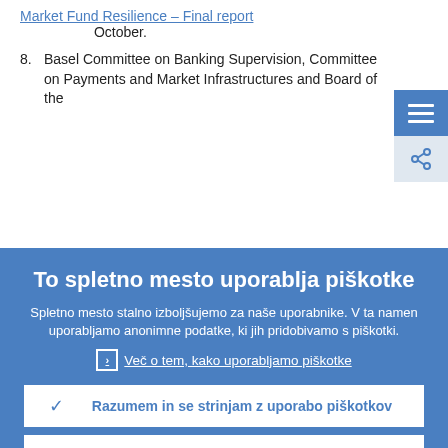Market Fund Resilience – Final report, October.
8. Basel Committee on Banking Supervision, Committee on Payments and Market Infrastructures and Board of the
[Figure (screenshot): Blue hamburger menu button icon with three white horizontal lines]
[Figure (screenshot): Light blue share/link icon button]
To spletno mesto uporablja piškotke
Spletno mesto stalno izboljšujemo za naše uporabnike. V ta namen uporabljamo anonimne podatke, ki jih pridobivamo s piškotki.
Več o tem, kako uporabljamo piškotke
Razumem in se strinjam z uporabo piškotkov
Ne strinjam se z uporabo piškotkov